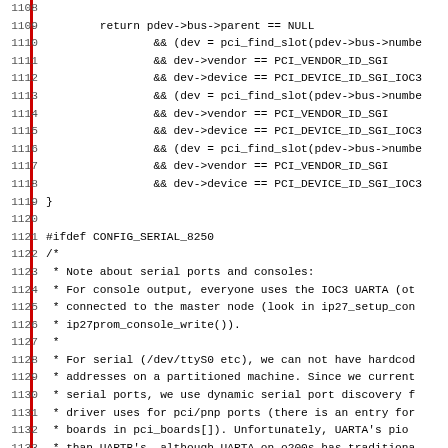[Figure (screenshot): Source code listing showing C code lines 1108-1139 with line numbers on the left and a red vertical bar. Code includes a function with pdev->bus->parent, pci_find_slot, PCI_VENDOR_ID_SGI, PCI_DEVICE_ID_SGI_IOC3 checks, followed by an #ifdef CONFIG_SERIAL_8250 block with a multi-line comment about serial ports and consoles.]